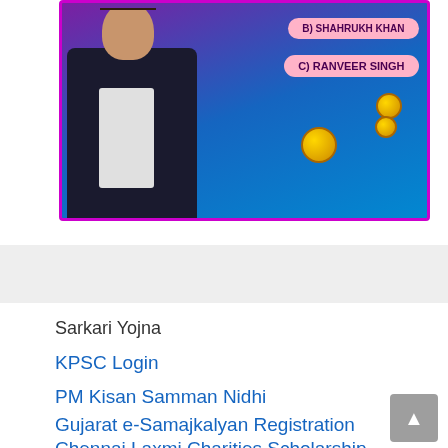[Figure (illustration): Quiz app banner showing a person in a suit with multiple choice options 'B) SHAHRUKH KHAN' and 'C) RANVEER SINGH' on a blue/purple background with gold coins]
Sarkari Yojna
KPSC Login
PM Kisan Samman Nidhi
Gujarat e-Samajkalyan Registration
Chennai Laxmi Charities Scholarship